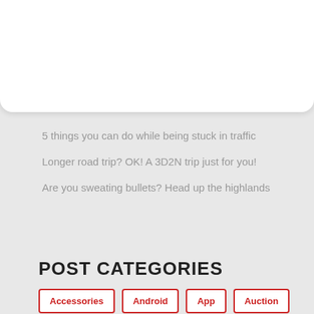[Figure (other): Hamburger menu icon (three horizontal lines)]
5 things you can do while being stuck in traffic
Longer road trip? OK! A 3D2N trip just for you!
Are you sweating bullets? Head up the highlands
POST CATEGORIES
Accessories
Android
App
Auction
Automotive
Balik Kampung
Benefits
Bike
Budget
Buy
Car Care
Car Insurance
Car Launch
Car News